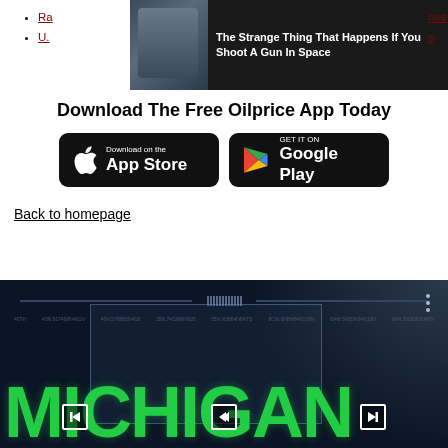Ra... nes
U.... s
[Figure (photo): Astronaut in space with dark overlay banner showing text: The Strange Thing That Happens If You Shoot A Gun In Space]
Download The Free Oilprice App Today
[Figure (other): App Store download button (black rounded rectangle with Apple logo)]
[Figure (other): Google Play download button (black rounded rectangle with Play logo)]
Back to homepage
[Figure (screenshot): Video player screenshot showing the word MICHIGAN in large green letters on a dark background with a data visualization overlay]